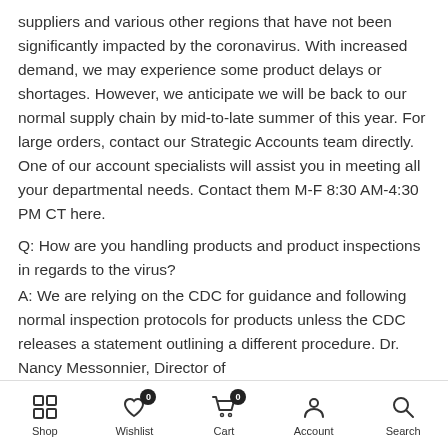suppliers and various other regions that have not been significantly impacted by the coronavirus. With increased demand, we may experience some product delays or shortages. However, we anticipate we will be back to our normal supply chain by mid-to-late summer of this year. For large orders, contact our Strategic Accounts team directly. One of our account specialists will assist you in meeting all your departmental needs. Contact them M-F 8:30 AM-4:30 PM CT here.
Q: How are you handling products and product inspections in regards to the virus?
A: We are relying on the CDC for guidance and following normal inspection protocols for products unless the CDC releases a statement outlining a different procedure. Dr. Nancy Messonnier, Director of
Shop  Wishlist  Cart  Account  Search